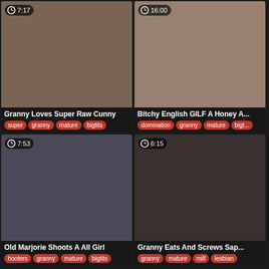[Figure (screenshot): Video thumbnail grid showing adult content video listings with thumbnails, durations, titles and tags]
7:17
Granny Loves Super Raw Cunny
super, granny, mature, bigtits
16:00
Bitchy English GILF A Honey A...
domination, granny, mature, bigt...
7:53
Old Marjorie Shoots A All Girl
hooters, granny, mature, bigtits
6:15
Granny Eats And Screws Sap...
granny, mature, milf, lesbian